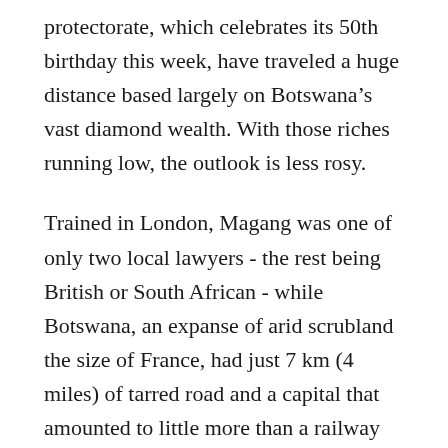protectorate, which celebrates its 50th birthday this week, have traveled a huge distance based largely on Botswana's vast diamond wealth. With those riches running low, the outlook is less rosy.
Trained in London, Magang was one of only two local lawyers - the rest being British or South African - while Botswana, an expanse of arid scrubland the size of France, had just 7 km (4 miles) of tarred road and a capital that amounted to little more than a railway station.
“On the face of it Botswana was very poor - good for hunting and not much else. It was basically an agrarian, subsistence society,” Magang told Reuters. “All we had